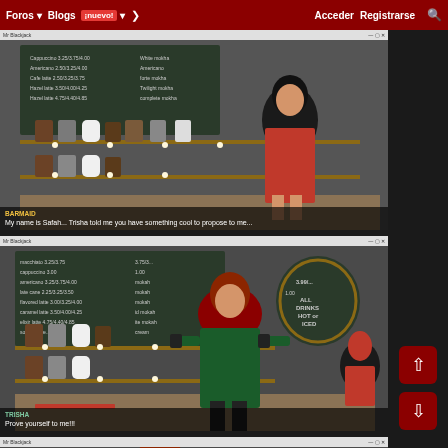Foros | Blogs ¡nuevo! | > | Acceder | Registrarse | [search]
[Figure (screenshot): 3D rendered game screenshot showing a woman in red dress at a cafe bar, with menu board behind. Subtitle: BARMAID - My name is Safah... Trisha told me you have something cool to propose to me...]
[Figure (screenshot): 3D rendered game screenshot showing a woman in green dress at a cafe bar. Subtitle: TRISHA - Prove yourself to me!!!]
[Figure (screenshot): 3D rendered game screenshot partial view showing red-haired character at cafe bar.]